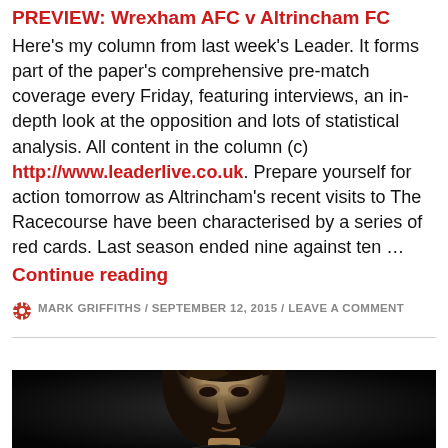PREVIEW: Wrexham AFC v Altrincham FC
Here's my column from last week's Leader. It forms part of the paper's comprehensive pre-match coverage every Friday, featuring interviews, an in-depth look at the opposition and lots of statistical analysis. All content in the column (c) http://www.leaderlive.co.uk. Prepare yourself for action tomorrow as Altrincham's recent visits to The Racecourse have been characterised by a series of red cards. Last season ended nine against ten …
Continue reading
MARK GRIFFITHS / SEPTEMBER 12, 2015 / LEAVE A COMMENT
[Figure (photo): Black and white photo of a male footballer with tousled hair, looking down, photographed against a dark background]